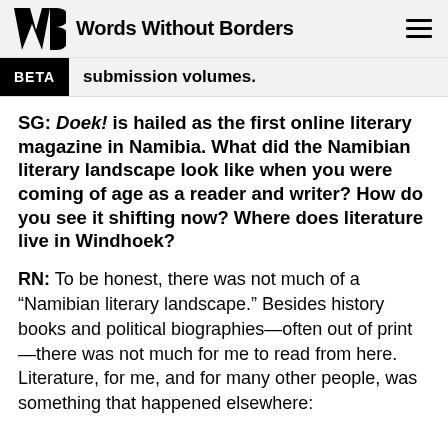Words Without Borders
r submission volumes.
SG: Doek! is hailed as the first online literary magazine in Namibia. What did the Namibian literary landscape look like when you were coming of age as a reader and writer? How do you see it shifting now? Where does literature live in Windhoek?
RN: To be honest, there was not much of a “Namibian literary landscape.” Besides history books and political biographies—often out of print—there was not much for me to read from here. Literature, for me, and for many other people, was something that happened elsewhere: